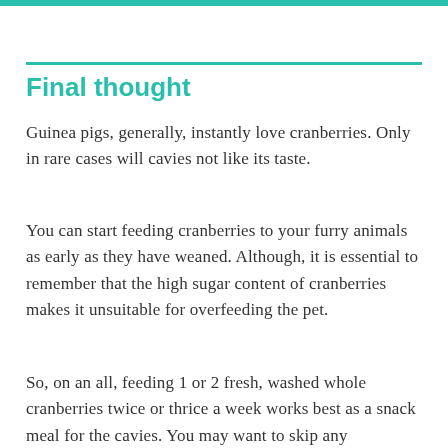Final thought
Guinea pigs, generally, instantly love cranberries. Only in rare cases will cavies not like its taste.
You can start feeding cranberries to your furry animals as early as they have weaned. Although, it is essential to remember that the high sugar content of cranberries makes it unsuitable for overfeeding the pet.
So, on an all, feeding 1 or 2 fresh, washed whole cranberries twice or thrice a week works best as a snack meal for the cavies. You may want to skip any